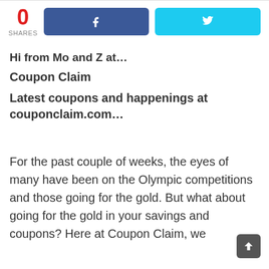[Figure (screenshot): Social share bar with 0 shares counter in red, Facebook button in dark blue with 'f' icon, Twitter button in light blue with bird icon]
Hi from Mo and Z at…
Coupon Claim
Latest coupons and happenings at couponclaim.com…
For the past couple of weeks,  the eyes of many have been on the Olympic competitions and those going for the gold. But what about going for the gold in your savings and coupons? Here at Coupon Claim, we